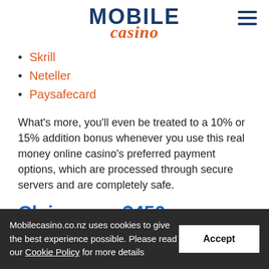MOBILE casino
Skrill
Neteller
Paysafecard
What's more, you'll even be treated to a 10% or 15% addition bonus whenever you use this real money online casino's preferred payment options, which are processed through secure servers and are completely safe.
Claim your $450 Welcome
Mobilecasino.co.nz uses cookies to give the best experience possible. Please read our Cookie Policy for more details